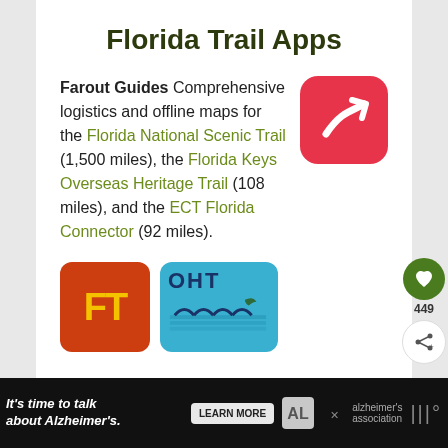Florida Trail Apps
Farout Guides Comprehensive logistics and offline maps for the Florida National Scenic Trail (1,500 miles), the Florida Keys Overseas Heritage Trail (108 miles), and the ECT Florida Connector (92 miles).
[Figure (logo): Farout Guides app icon — red rounded square with white navigation arrow]
[Figure (logo): Florida Trail app icon — orange/red square with yellow FT text]
[Figure (logo): OHT app icon — blue rectangle with OHT text and bridge/water illustration]
It's time to talk about Alzheimer's. LEARN MORE